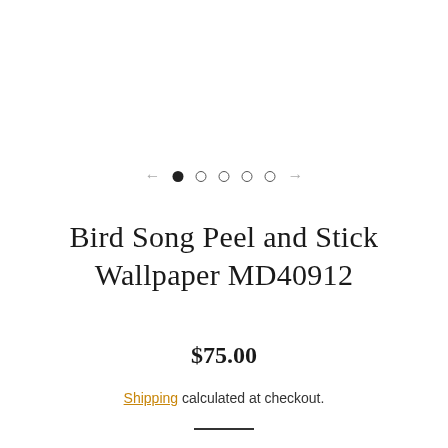[Figure (other): Carousel navigation with left arrow, one filled dot (active), four open dots, and right arrow]
Bird Song Peel and Stick Wallpaper MD40912
$75.00
Shipping calculated at checkout.